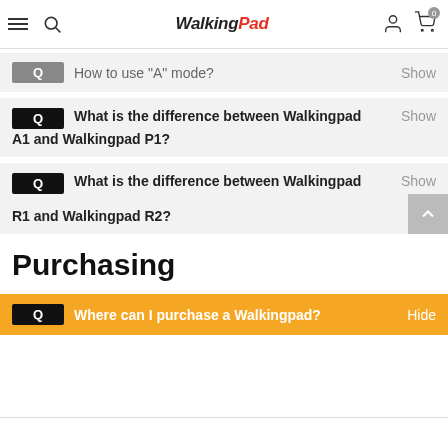WalkingPad
Q  How to use "A" mode?  Show
Q  What is the difference between Walkingpad A1 and Walkingpad P1?  Show
Q  What is the difference between Walkingpad R1 and Walkingpad R2?  Show
Purchasing
Q  Where can I purchase a Walkingpad?  Hide